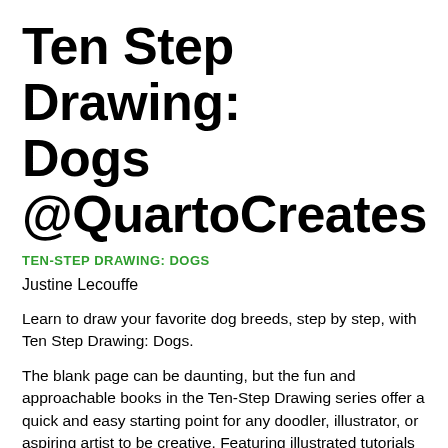Ten Step Drawing: Dogs @QuartoCreates
TEN-STEP DRAWING: DOGS
Justine Lecouffe
Learn to draw your favorite dog breeds, step by step, with Ten Step Drawing: Dogs.
The blank page can be daunting, but the fun and approachable books in the Ten-Step Drawing series offer a quick and easy starting point for any doodler, illustrator, or aspiring artist to be creative. Featuring illustrated tutorials for drawing a variety of different animals, flowers, plants, and people, each book in this appealing series breaks down each subject into 10 simple steps. And all you need is a pen or pencil and a piece of paper!